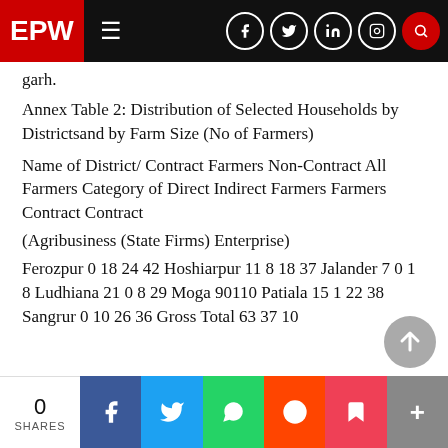EPW
garh.
Annex Table 2: Distribution of Selected Households by Districtsand by Farm Size (No of Farmers)
Name of District/ Contract Farmers Non-Contract All Farmers Category of Direct Indirect Farmers Farmers Contract Contract
(Agribusiness (State Firms) Enterprise)
Ferozpur 0 18 24 42 Hoshiarpur 11 8 18 37 Jalander 7 0 1 8 Ludhiana 21 0 8 29 Moga 90110 Patiala 15 1 22 38 Sangrur 0 10 26 36 Gross Total 63 37 10
0 SHARES